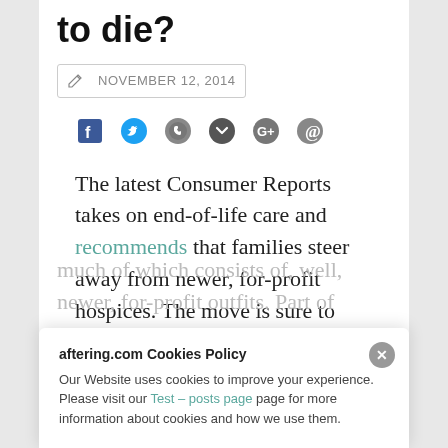to die?
NOVEMBER 12, 2014
[Figure (infographic): Social sharing icons: Facebook, Twitter, WhatsApp, Pocket/Save, Google+, Pinterest]
The latest Consumer Reports takes on end-of-life care and recommends that families steer away from newer, for-profit hospices. The move is sure to rattle the hospice industry, much of which consists of, well, newer, for-profit outfits. Part of
aftering.com Cookies Policy
Our Website uses cookies to improve your experience. Please visit our Test – posts page page for more information about cookies and how we use them.